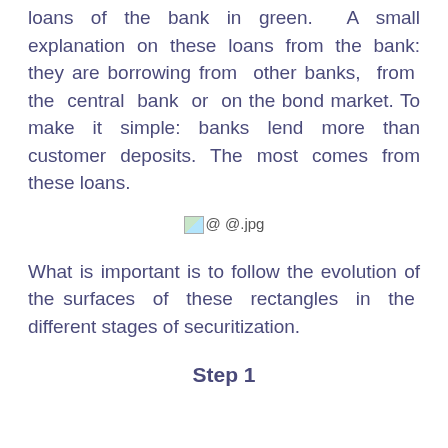loans of the bank in green. A small explanation on these loans from the bank: they are borrowing from other banks, from the central bank or on the bond market. To make it simple: banks lend more than customer deposits. The most comes from these loans.
[Figure (other): Broken image placeholder showing @ @.jpg]
What is important is to follow the evolution of the surfaces of these rectangles in the different stages of securitization.
Step 1